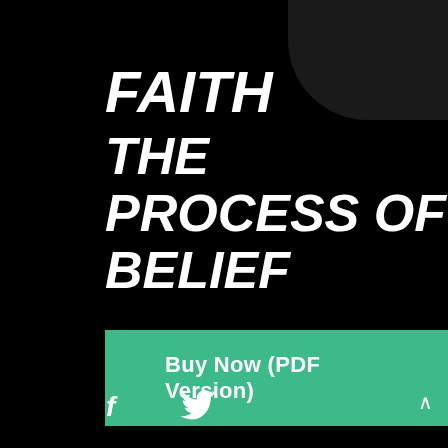FAITH THE PROCESS OF BELIEF
Buy Now (PDF Version)
[Figure (other): Social media icons: Facebook (f) and Twitter bird icon]
^